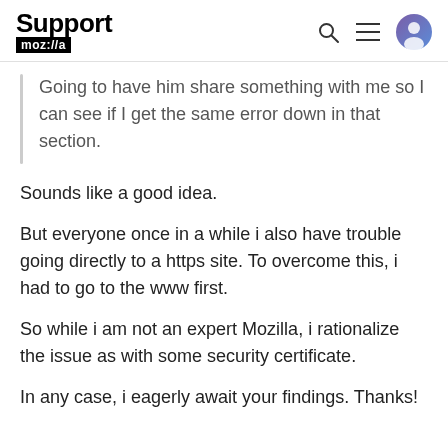Support moz://a
Going to have him share something with me so I can see if I get the same error down in that section.
Sounds like a good idea.
But everyone once in a while i also have trouble going directly to a https site. To overcome this, i had to go to the www first.
So while i am not an expert Mozilla, i rationalize the issue as with some security certificate.
In any case, i eagerly await your findings. Thanks!